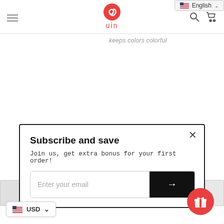uin — navigation header with hamburger menu, logo, search and cart icons
keeps colors colorful
[Figure (screenshot): Subscribe and save modal popup on an e-commerce website. Contains title 'Subscribe and save', subtitle 'Join us, get extra bonus for your first order!', an email input field with a black submit button containing a right arrow, and an X close button.]
Enter your email
USD
[Figure (other): Red circular gift/reward button in the bottom right corner]